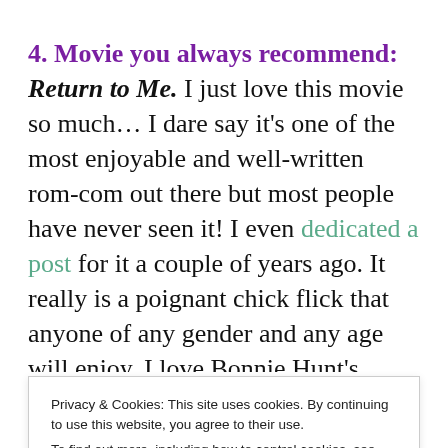4. Movie you always recommend:
Return to Me. I just love this movie so much… I dare say it's one of the most enjoyable and well-written rom-com out there but most people have never seen it! I even dedicated a post for it a couple of years ago. It really is a poignant chick flick that anyone of any gender and any age will enjoy. I love Bonnie Hunt's
Privacy & Cookies: This site uses cookies. By continuing to use this website, you agree to their use.
To find out more, including how to control cookies, see here: Cookie Policy
5. Actor/actress you always watch, no matter